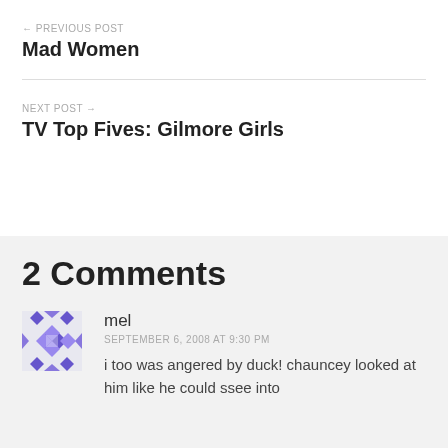← PREVIOUS POST
Mad Women
NEXT POST →
TV Top Fives: Gilmore Girls
2 Comments
mel
SEPTEMBER 6, 2008 AT 9:30 PM
i too was angered by duck! chauncey looked at him like he could ssee into